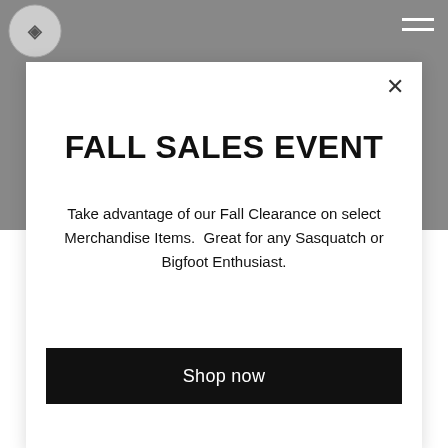[Figure (screenshot): Website screenshot showing a gray header with a circular logo in the top-left and a hamburger menu icon in the top-right, with a modal popup overlay containing a Fall Sales Event promotion.]
FALL SALES EVENT
Take advantage of our Fall Clearance on select Merchandise Items.  Great for any Sasquatch or Bigfoot Enthusiast.
Shop now
and Giorgio was starring in fast-food commercials;